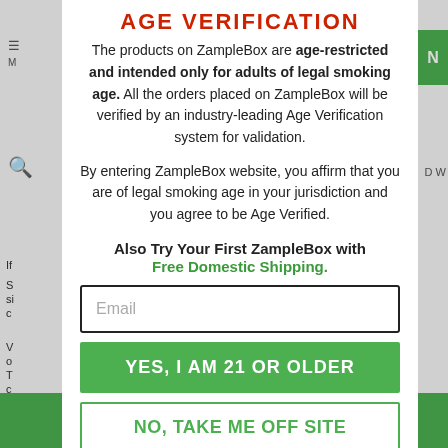AGE VERIFICATION
The products on ZampleBox are age-restricted and intended only for adults of legal smoking age. All the orders placed on ZampleBox will be verified by an industry-leading Age Verification system for validation.
By entering ZampleBox website, you affirm that you are of legal smoking age in your jurisdiction and you agree to be Age Verified.
Also Try Your First ZampleBox with Free Domestic Shipping.
Email
YES, I AM 21 OR OLDER
NO, TAKE ME OFF SITE